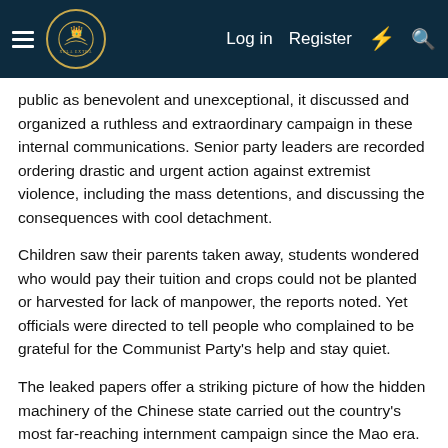Logo | Log in | Register
public as benevolent and unexceptional, it discussed and organized a ruthless and extraordinary campaign in these internal communications. Senior party leaders are recorded ordering drastic and urgent action against extremist violence, including the mass detentions, and discussing the consequences with cool detachment.
Children saw their parents taken away, students wondered who would pay their tuition and crops could not be planted or harvested for lack of manpower, the reports noted. Yet officials were directed to tell people who complained to be grateful for the Communist Party's help and stay quiet.
The leaked papers offer a striking picture of how the hidden machinery of the Chinese state carried out the country's most far-reaching internment campaign since the Mao era. The key disclosures in the documents include:
•President Xi Jinping, the party chief, laid the groundwork for the